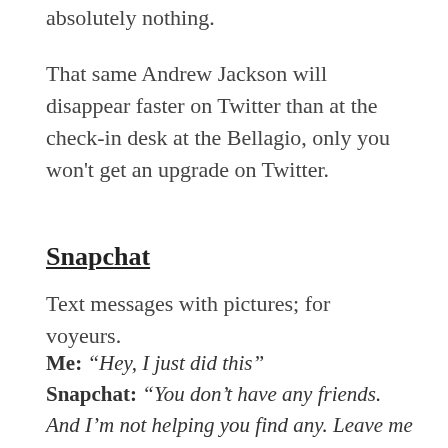absolutely nothing.
That same Andrew Jackson will disappear faster on Twitter than at the check-in desk at the Bellagio, only you won't get an upgrade on Twitter.
Snapchat
Text messages with pictures; for voyeurs.
Me: “Hey, I just did this” Snapchat: “You don’t have any friends. And I’m not helping you find any. Leave me alone, I’m too cool to be bothered with what you think.”